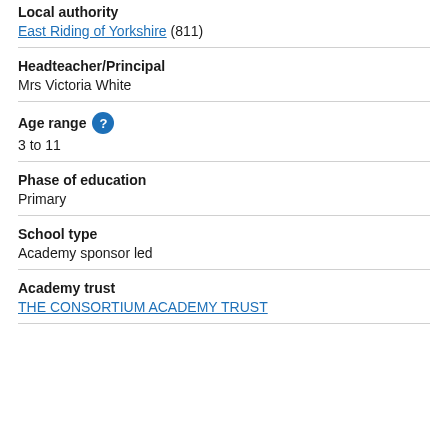Local authority
East Riding of Yorkshire (811)
Headteacher/Principal
Mrs Victoria White
Age range
3 to 11
Phase of education
Primary
School type
Academy sponsor led
Academy trust
THE CONSORTIUM ACADEMY TRUST